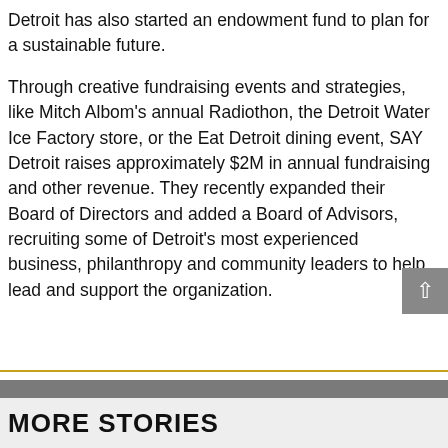Detroit has also started an endowment fund to plan for a sustainable future.
Through creative fundraising events and strategies, like Mitch Albom's annual Radiothon, the Detroit Water Ice Factory store, or the Eat Detroit dining event, SAY Detroit raises approximately $2M in annual fundraising and other revenue. They recently expanded their Board of Directors and added a Board of Advisors, recruiting some of Detroit's most experienced business, philanthropy and community leaders to help lead and support the organization.
MORE STORIES